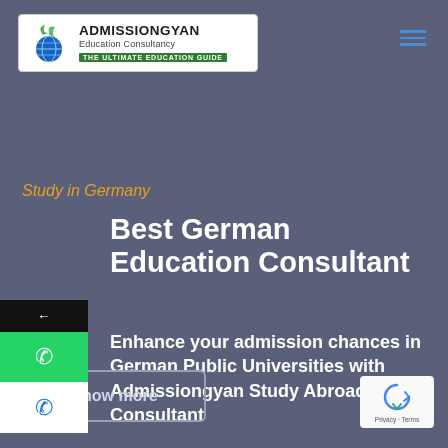[Figure (logo): Admissiongyan Education Consultancy logo with globe icon and green leaf symbols, tagline: THE ULTIMATE EDUCATION GUIDE]
[Figure (infographic): Hamburger menu icon with three blue horizontal lines]
Study in Germany
Best German Education Consultant
Enhance your admission chances in German Public Universities with Admissiongyan Study Abroad Consultant
[Figure (infographic): Floating sidebar with back arrow button (black), WhatsApp icon button (green), phone icon button (white)]
Know more
[Figure (other): Google reCAPTCHA badge with recycling arrow icon, Privacy - Terms text]